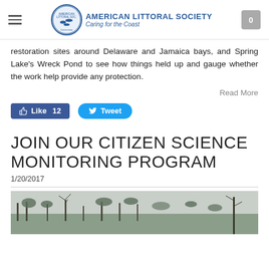AMERICAN LITTORAL SOCIETY Caring for the Coast
restoration sites around Delaware and Jamaica bays, and Spring Lake's Wreck Pond to see how things held up and gauge whether the work help provide any protection.
Read More
Like 12   Tweet
JOIN OUR CITIZEN SCIENCE MONITORING PROGRAM
1/20/2017
[Figure (photo): Outdoor landscape photo showing bare winter trees and shrubs against an overcast sky]